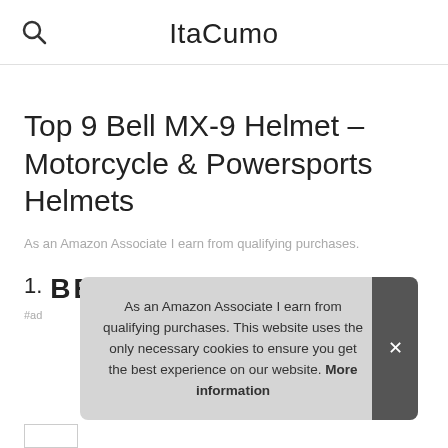ItaCumo
Top 9 Bell MX-9 Helmet – Motorcycle & Powersports Helmets
As an Amazon Associate I earn from qualifying purchases.
1. BELL
#ad
As an Amazon Associate I earn from qualifying purchases. This website uses the only necessary cookies to ensure you get the best experience on our website. More information